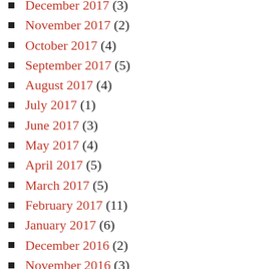December 2017 (3)
November 2017 (2)
October 2017 (4)
September 2017 (5)
August 2017 (4)
July 2017 (1)
June 2017 (3)
May 2017 (4)
April 2017 (5)
March 2017 (5)
February 2017 (11)
January 2017 (6)
December 2016 (2)
November 2016 (3)